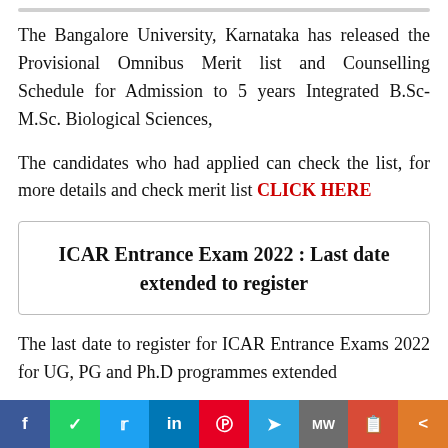The Bangalore University, Karnataka has released the Provisional Omnibus Merit list and Counselling Schedule for Admission to 5 years Integrated B.Sc-M.Sc. Biological Sciences,
The candidates who had applied can check the list, for more details and check merit list CLICK HERE
ICAR Entrance Exam 2022 : Last date extended to register
The last date to register for ICAR Entrance Exams 2022 for UG, PG and Ph.D programmes extended